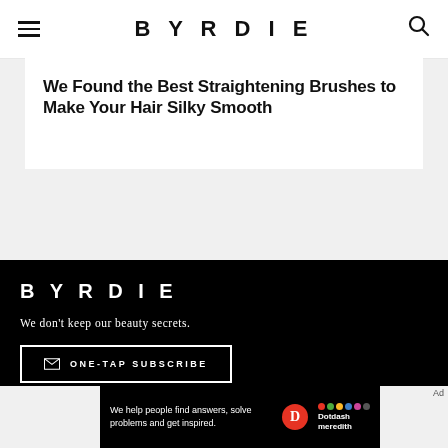BYRDIE
We Found the Best Straightening Brushes to Make Your Hair Silky Smooth
BYRDIE — We don't keep our beauty secrets. ONE-TAP SUBSCRIBE
We help people find answers, solve problems and get inspired. Dotdash meredith